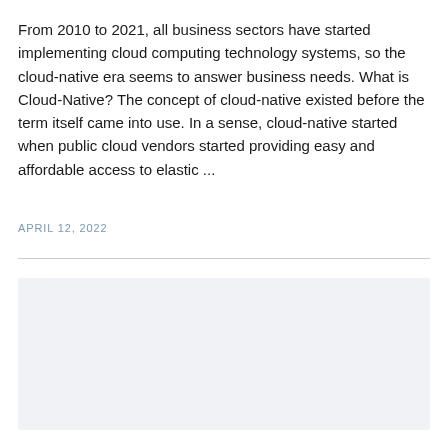From 2010 to 2021, all business sectors have started implementing cloud computing technology systems, so the cloud-native era seems to answer business needs. What is Cloud-Native? The concept of cloud-native existed before the term itself came into use. In a sense, cloud-native started when public cloud vendors started providing easy and affordable access to elastic ...
APRIL 12, 2022
[Figure (other): Light gray rectangular placeholder image block]